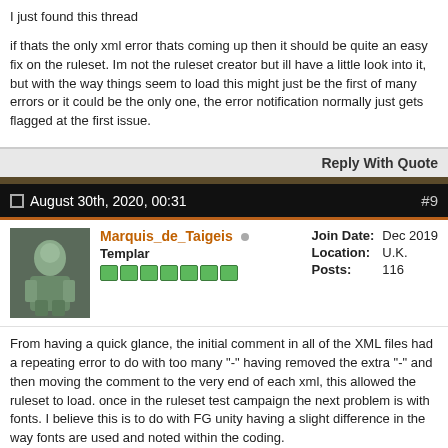I just found this thread
if thats the only xml error thats coming up then it should be quite an easy fix on the ruleset. Im not the ruleset creator but ill have a little look into it, but with the way things seem to load this might just be the first of many errors or it could be the only one, the error notification normally just gets flagged at the first issue.
Reply With Quote
August 30th, 2020, 00:31  #9
Marquis_de_Taigeis  Templar  Join Date: Dec 2019  Location: U.K.  Posts: 116
From having a quick glance, the initial comment in all of the XML files had a repeating error to do with too many "-" having removed the extra "-" and then moving the comment to the very end of each xml, this allowed the ruleset to load. once in the ruleset test campaign the next problem is with fonts. I believe this is to do with FG unity having a slight difference in the way fonts are used and noted within the coding.
running the ruleset on FG classic allows the ruleset to load and doesnt give the font errors.
Im not sure on the mechanics used within this ruleset. but the couple test dice roles from the character sheet seemed to work within FG classic.